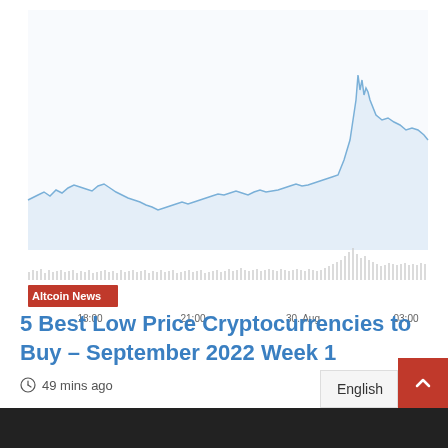[Figure (continuous-plot): Cryptocurrency price line chart with volume bars below. The line shows a relatively flat/noisy pattern from 18:00 to about 03:00, then spikes sharply upward near 03:00. X-axis labels: 18:00, 21:00, 30. Aug, 03:00. An 'Altcoin News' red badge overlay is visible in the lower-left of the chart area.]
5 Best Low Price Cryptocurrencies to Buy – September 2022 Week 1
49 mins ago